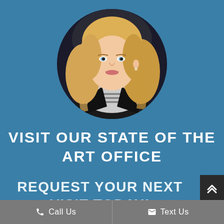[Figure (photo): Circular headshot photo of a blonde woman in a black blazer and striped top, smiling, against a dark background]
VISIT OUR STATE OF THE ART OFFICE
REQUEST YOUR NEXT VISIT TODAY!
Call Us   Text Us